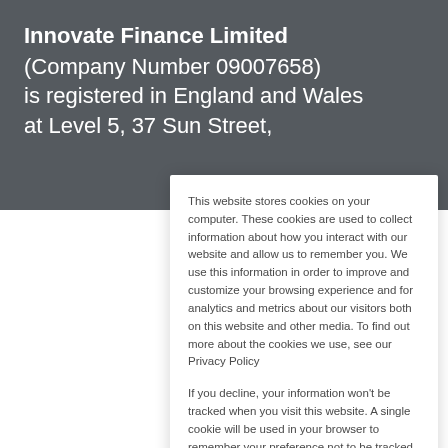Innovate Finance Limited (Company Number 09007658) is registered in England and Wales at Level 5, 37 Sun Street,
This website stores cookies on your computer. These cookies are used to collect information about how you interact with our website and allow us to remember you. We use this information in order to improve and customize your browsing experience and for analytics and metrics about our visitors both on this website and other media. To find out more about the cookies we use, see our Privacy Policy
If you decline, your information won't be tracked when you visit this website. A single cookie will be used in your browser to remember your preference not to be tracked.